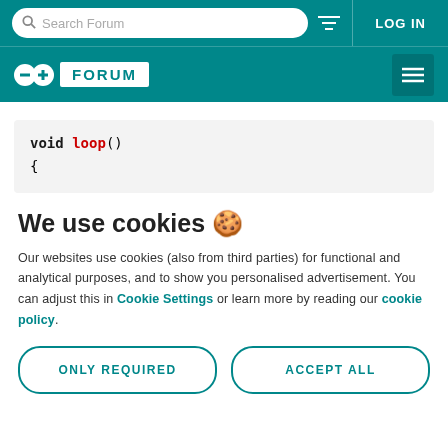Search Forum | LOG IN
Arduino FORUM
void loop()
{
We use cookies 🍪
Our websites use cookies (also from third parties) for functional and analytical purposes, and to show you personalised advertisement. You can adjust this in Cookie Settings or learn more by reading our cookie policy.
ONLY REQUIRED   ACCEPT ALL